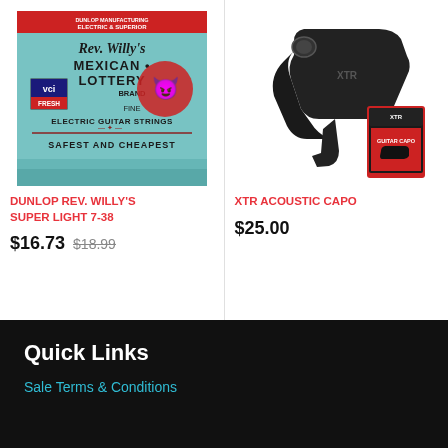[Figure (photo): Dunlop Rev. Willy's Mexican Lottery Brand Fine Electric Guitar Strings product packaging - teal/vintage design with devil mascot]
[Figure (photo): XTR Acoustic Guitar Capo - black capo tool shown with product packaging]
DUNLOP REV. WILLY'S SUPER LIGHT 7-38
$16.73  $18.99
XTR ACOUSTIC CAPO
$25.00
Quick Links
Sale Terms & Conditions